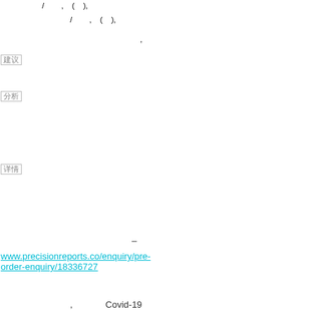/        ,    (    ),
，
□□
□□
□□
–
www.precisionreports.co/enquiry/pre-order-enquiry/18336727
,             Covid-19